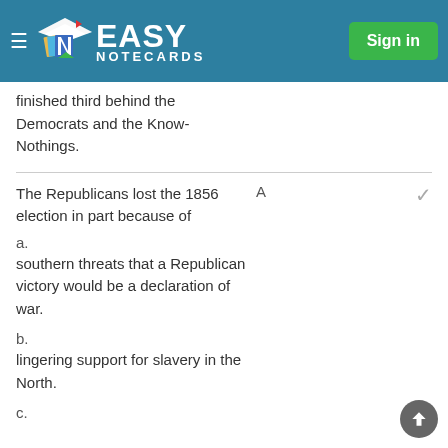Easy Notecards — Sign in
finished third behind the Democrats and the Know-Nothings.
The Republicans lost the 1856 election in part because of
a. southern threats that a Republican victory would be a declaration of war.
b. lingering support for slavery in the North.
c.